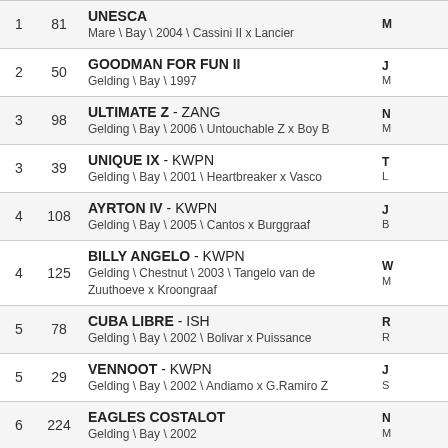| Rank | No. | Horse | Rider/Owner |
| --- | --- | --- | --- |
| 1 | 81 | UNESCA
Mare \ Bay \ 2004 \ Cassini II x Lancier | M... |
| 2 | 50 | GOODMAN FOR FUN II
Gelding \ Bay \ 1997 | J...
M... |
| 3 | 98 | ULTIMATE Z - ZANG
Gelding \ Bay \ 2006 \ Untouchable Z x Boy B | N...
M... |
| 3 | 39 | UNIQUE IX - KWPN
Gelding \ Bay \ 2001 \ Heartbreaker x Vasco | T...
L... |
| 4 | 108 | AYRTON IV - KWPN
Gelding \ Bay \ 2005 \ Cantos x Burggraaf | J...
B... |
| 4 | 125 | BILLY ANGELO - KWPN
Gelding \ Chestnut \ 2003 \ Tangelo van de Zuuthoeve x Kroongraaf | W...
M... |
| 5 | 78 | CUBA LIBRE - ISH
Gelding \ Bay \ 2002 \ Bolivar x Puissance | R...
R... |
| 5 | 29 | VENNOOT - KWPN
Gelding \ Bay \ 2002 \ Andiamo x G.Ramiro Z | J...
S... |
| 6 | 224 | EAGLES COSTALOT
Gelding \ Bay \ 2002 | N...
M... |
| 6 | 95 | SANTA CRUISE - ISH
Gelding \ Grey \ 2004 \ Randi x Cruising | T... |